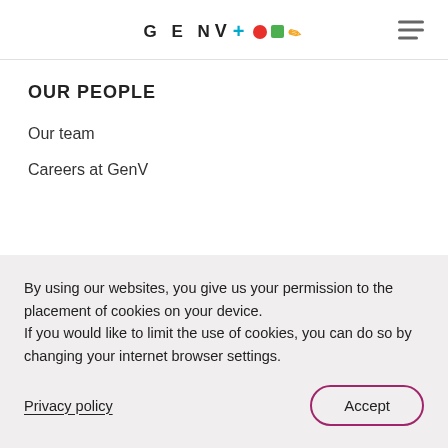GEN V + ● ■ ✏
OUR PEOPLE
Our team
Careers at GenV
By using our websites, you give us your permission to the placement of cookies on your device. If you would like to limit the use of cookies, you can do so by changing your internet browser settings.
Privacy policy
Accept